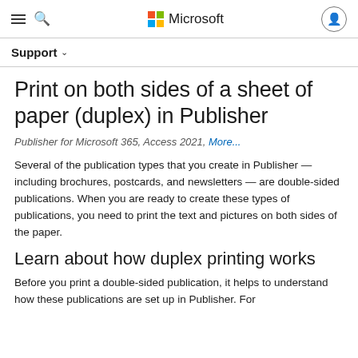Microsoft
Support
Print on both sides of a sheet of paper (duplex) in Publisher
Publisher for Microsoft 365, Access 2021, More...
Several of the publication types that you create in Publisher — including brochures, postcards, and newsletters — are double-sided publications. When you are ready to create these types of publications, you need to print the text and pictures on both sides of the paper.
Learn about how duplex printing works
Before you print a double-sided publication, it helps to understand how these publications are set up in Publisher. For